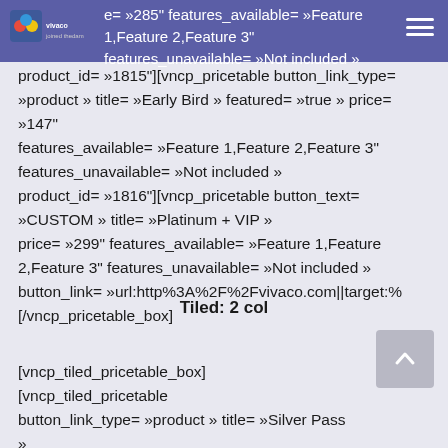e= »285" features_available= »Feature 1,Feature 2,Feature 3" features_unavailable= »Not included »
product_id= »1815"][vncp_pricetable button_link_type= »product » title= »Early Bird » featured= »true » price= »147" features_available= »Feature 1,Feature 2,Feature 3" features_unavailable= »Not included » product_id= »1816"][vncp_pricetable button_text= »CUSTOM » title= »Platinum + VIP » price= »299" features_available= »Feature 1,Feature 2,Feature 3" features_unavailable= »Not included » button_link= »url:http%3A%2F%2Fvivaco.com||target:% [/vncp_pricetable_box]
Tiled: 2 col
[vncp_tiled_pricetable_box]
[vncp_tiled_pricetable
button_link_type= »product » title= »Silver Pass »